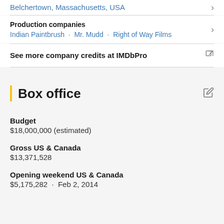Belchertown, Massachusetts, USA
Production companies
Indian Paintbrush · Mr. Mudd · Right of Way Films
See more company credits at IMDbPro
Box office
Budget
$18,000,000 (estimated)
Gross US & Canada
$13,371,528
Opening weekend US & Canada
$5,175,282 · Feb 2, 2014